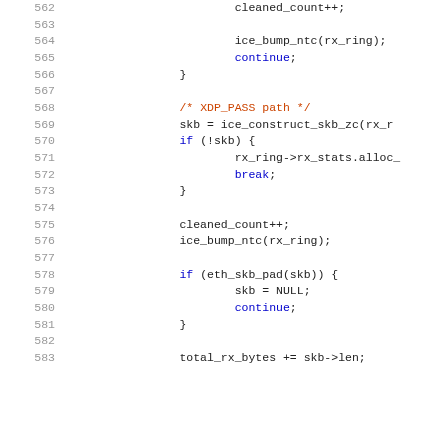Source code listing, lines 562-583, C kernel code for ice network driver XDP/ZC receive path